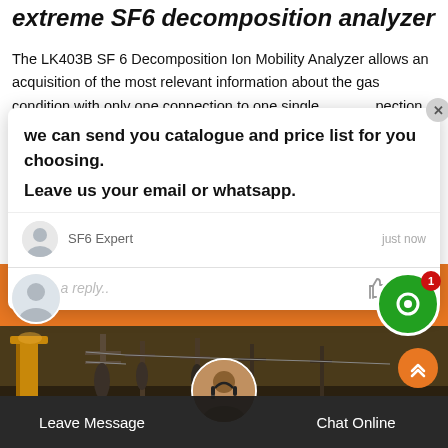extreme SF6 decomposition analyzer
The LK403B SF 6 Decomposition Ion Mobility Analyzer allows an acquisition of the most relevant information about the gas condition with only one connection to one single inspection device. [partially obscured] ed and designed [partially obscured] er's requirements [partially obscured] ine.
we can send you catalogue and price list for you choosing.
Leave us your email or whatsapp.

SF6 Expert    just now
Write a reply..
[Figure (screenshot): Power substation with transmission lines and equipment, photographed from ground level looking up]
Leave Message
Chat Online